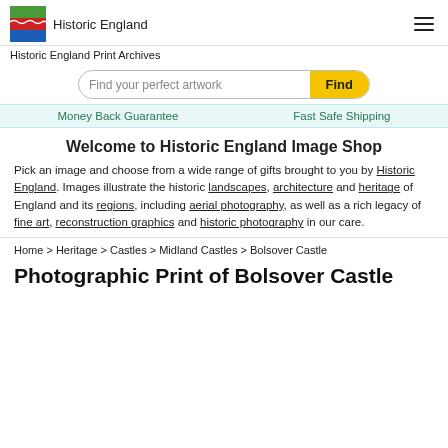Historic England Print Archives
Find your perfect artwork | Find
Money Back Guarantee | Fast Safe Shipping
Welcome to Historic England Image Shop
Pick an image and choose from a wide range of gifts brought to you by Historic England. Images illustrate the historic landscapes, architecture and heritage of England and its regions, including aerial photography, as well as a rich legacy of fine art, reconstruction graphics and historic photography in our care.
Home > Heritage > Castles > Midland Castles > Bolsover Castle
Photographic Print of Bolsover Castle